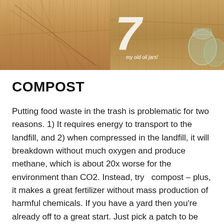[Figure (photo): Two photos side by side at the top of the page. Left photo shows a wooden surface with bamboo or wooden skewers. Right photo shows glass jars on a wooden surface with text overlay reading 'my old oil jars!' and a large decorative number.]
COMPOST
Putting food waste in the trash is problematic for two reasons. 1) It requires energy to transport to the landfill, and 2) when compressed in the landfill, it will breakdown without much oxygen and produce methane, which is about 20x worse for the environment than CO2. Instead, try  compost – plus, it makes a great fertilizer without mass production of harmful chemicals. If you have a yard then you're already off to a great start. Just pick a patch to be your compost pile and